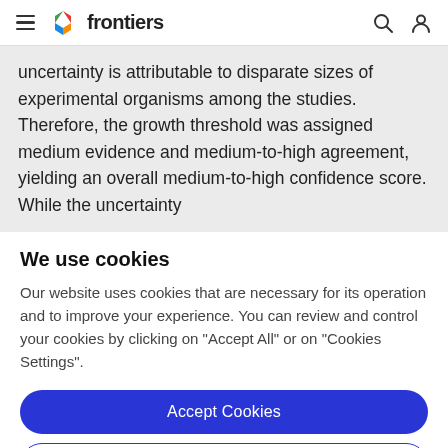frontiers
uncertainty is attributable to disparate sizes of experimental organisms among the studies. Therefore, the growth threshold was assigned medium evidence and medium-to-high agreement, yielding an overall medium-to-high confidence score. While the uncertainty
We use cookies
Our website uses cookies that are necessary for its operation and to improve your experience. You can review and control your cookies by clicking on "Accept All" or on "Cookies Settings".
Accept Cookies
Cookies Settings